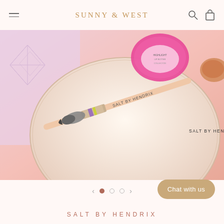SUNNY & WEST
[Figure (photo): Close-up beauty flat-lay photo on a peach/pink background showing a makeup/nail brush with metallic handle (labeled SALT BY HENDRIX), a circular cream-colored plate or dish, a pink round product container, and a lavender card with geometric diamond pattern. Text 'SALT BY HENDRIX' visible on the brush handle.]
SALT BY HENDRIX